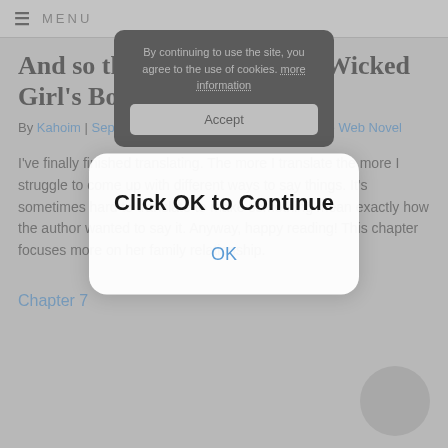≡ MENU
And so the Girl Obtained a Wicked Girl's Body Chapter 7
By Kahoim | September 2, 2015 - 11:41 pm | Japanese Web Novel
I've finally finished translating. The more I translate the more I struggle to come up with different ways to say things. It's sometimes hard to translate to make something mean exactly how the author wanted to say it. Anyway, happy reading! This chapter focuses more on her family relationship.
Chapter 7
[Figure (screenshot): Cookie consent notice overlay with dark background reading 'By continuing to use the site, you agree to the use of cookies. more information' and an Accept button]
[Figure (screenshot): Modal dialog overlay reading 'Click OK to Continue' with an OK link in blue]